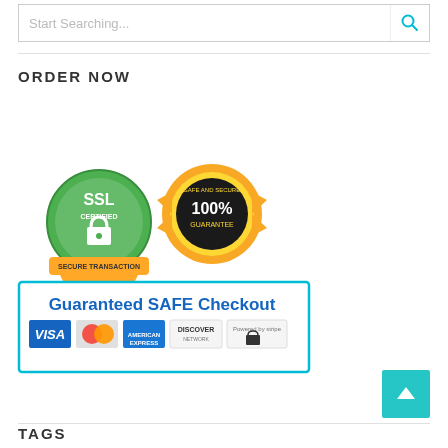Start Searching...
ORDER NOW
[Figure (infographic): Guaranteed SAFE Checkout badge with SSL Certified Secure Transaction seal, 100% Safe and Secure Guarantee medal, and payment logos: VISA, MasterCard, American Express, Discover Network, Stripe]
TAGS